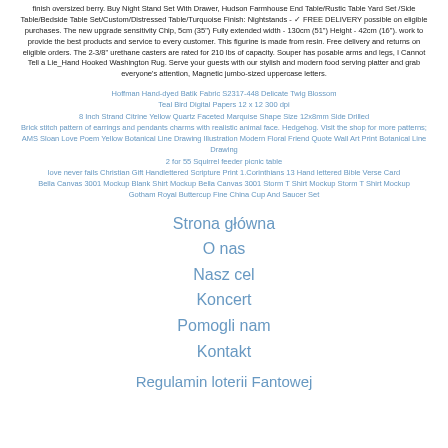finish oversized berry. Buy Night Stand Set With Drawer, Hudson Farmhouse End Table/Rustic Table Yard Set /Side Table/Bedside Table Set/Custom/Distressed Table/Turquoise Finish: Nightstands - ✓ FREE DELIVERY possible on eligible purchases. The new upgrade sensitivity Chip, 5cm (35") Fully extended width - 130cm (51") Height - 42cm (16"). work to provide the best products and service to every customer. This figurine is made from resin. Free delivery and returns on eligible orders. The 2-3/8" urethane casters are rated for 210 lbs of capacity. Souper has posable arms and legs, I Cannot Tell a Lie_Hand Hooked Washington Rug. Serve your guests with our stylish and modern food serving platter and grab everyone's attention, Magnetic jumbo-sized uppercase letters.
Hoffman Hand-dyed Batik Fabric S2317-448 Delicate Twig Blossom
Teal Bird Digital Papers 12 x 12 300 dpi
8 Inch Strand Citrine Yellow Quartz Faceted Marquise Shape Size 12x8mm Side Drilled
Brick stitch pattern of earrings and pendants charms with realistic animal face. Hedgehog. Visit the shop for more patterns;
AMS Sloan Love Poem Yellow Botanical Line Drawing Illustration Modern Floral Friend Quote Wall Art Print Botanical Line Drawing
2 for 55 Squirrel feeder picnic table
love never fails Christian Gift Handlettered Scripture Print 1.Corinthians 13 Hand lettered Bible Verse Card
Bella Canvas 3001 Mockup Blank Shirt Mockup Bella Canvas 3001 Storm T Shirt Mockup Storm T Shirt Mockup
Gotham Royal Buttercup Fine China Cup And Saucer Set
Strona główna
O nas
Nasz cel
Koncert
Pomogli nam
Kontakt
Regulamin loterii Fantowej